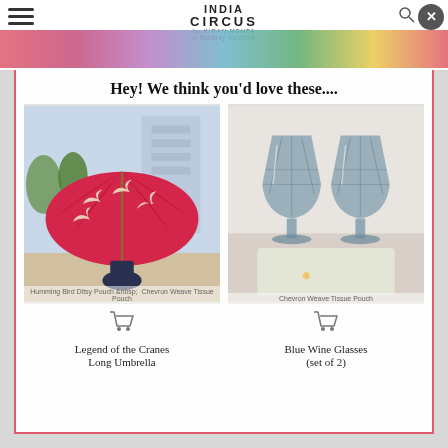[Figure (screenshot): India Circus website header with logo 'INDIA CIRCUS by Kiran Mehta, A Godrej Venture', colorful banner strip, hamburger menu, cart icon, and close (X) button]
Hey! We think you'd love these....
[Figure (photo): Legend of the Cranes Long Umbrella - a pink/red umbrella with white crane bird pattern, open and held by a person outdoors]
Legend of the Cranes
Long Umbrella
[Figure (photo): Blue Wine Glasses (set of 2) - two faceted blue-grey glass goblets on a white surface]
Blue Wine Glasses
(set of 2)